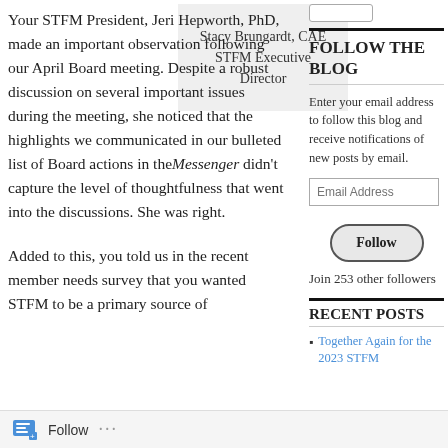Your STFM President, Jeri Hepworth, PhD, made an important observation following our April Board meeting. Despite a robust discussion on several important issues during the meeting, she noticed that the highlights we communicated in our bulleted list of Board actions in the Messenger didn't capture the level of thoughtfulness that went into the discussions. She was right.
[Figure (other): Attribution box: Stacy Brungardt, CAE STFM Executive Director]
Added to this, you told us in the recent member needs survey that you wanted STFM to be a primary source of
FOLLOW THE BLOG
Enter your email address to follow this blog and receive notifications of new posts by email.
Email Address
Follow
Join 253 other followers
RECENT POSTS
Together Again for the 2023 STFM